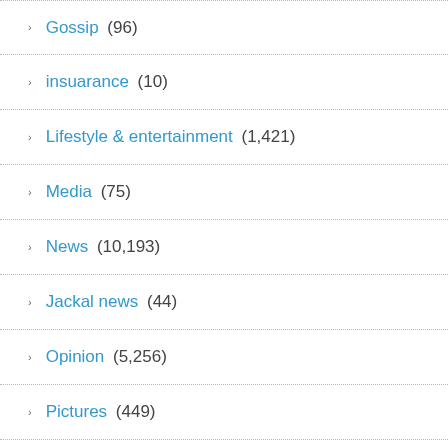Gossip (96)
insuarance (10)
Lifestyle & entertainment (1,421)
Media (75)
News (10,193)
Jackal news (44)
Opinion (5,256)
Pictures (449)
Politics (4,040)